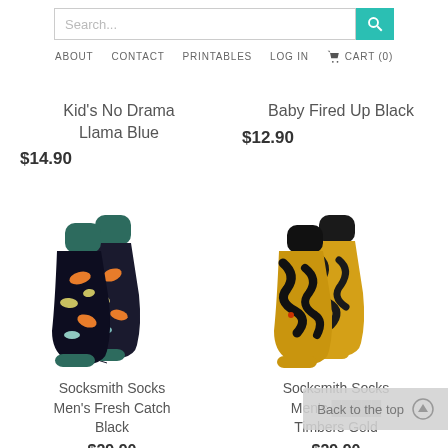Search... | ABOUT | CONTACT | PRINTABLES | LOG IN | CART (0)
Kid's No Drama Llama Blue
$14.90
Baby Fired Up Black
$12.90
[Figure (photo): Dark navy socks with orange, yellow, and teal fish pattern, green toe and cuff]
Socksmith Socks Men's Fresh Catch Black
$29.90
[Figure (photo): Yellow/gold socks with black snake/squiggly pattern and black cuff]
Socksmith Socks Men's Timbers Gold
$29.90
Back to the top